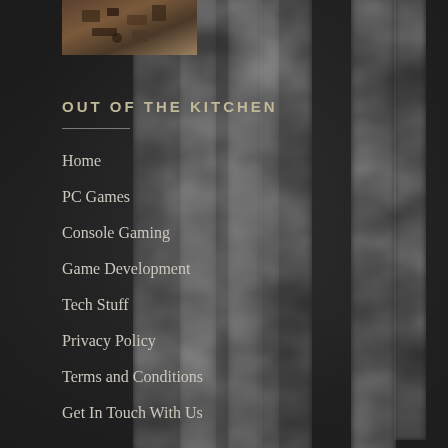[Figure (photo): Small thumbnail image in top left area showing a dark game scene viewed from above]
OUT OF THE KITCHEN
Home
PC Games
Console Gaming
Game Development
Tech Stuff
Privacy Policy
Terms and Conditions
Get In Touch With Us